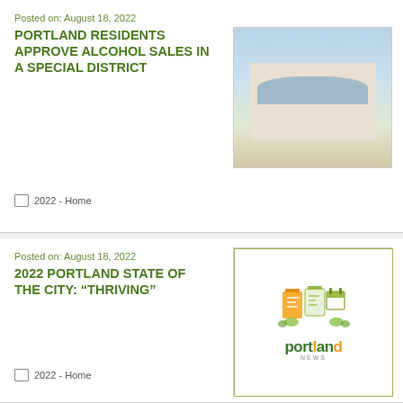Posted on: August 18, 2022
PORTLAND RESIDENTS APPROVE ALCOHOL SALES IN A SPECIAL DISTRICT
[Figure (photo): Exterior photo of a modern glass and concrete building with landscaping]
2022 - Home
Posted on: August 18, 2022
2022 PORTLAND STATE OF THE CITY: “THRIVING”
[Figure (logo): Portland News logo with city-themed illustration]
2022 - Home